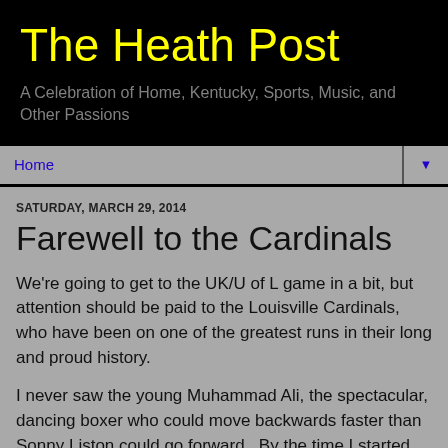The Heath Post
A Celebration of Home, Kentucky, Sports, Music, and Other Passions
Home
SATURDAY, MARCH 29, 2014
Farewell to the Cardinals
We're going to get to the UK/U of L game in a bit, but attention should be paid to the Louisville Cardinals, who have been on one of the greatest runs in their long and proud history.
I never saw the young Muhammad Ali, the spectacular, dancing boxer who could move backwards faster than Sonny Liston could go forward.  By the time I started watching